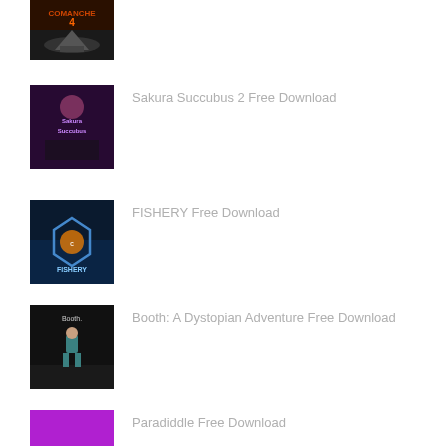[Figure (screenshot): Comanche 4 game thumbnail - dark action game cover]
[Figure (screenshot): Sakura Succubus 2 game thumbnail - anime style cover]
Sakura Succubus 2 Free Download
[Figure (screenshot): FISHERY game thumbnail - underwater fishing game with hexagon logo]
FISHERY Free Download
[Figure (screenshot): Booth: A Dystopian Adventure game thumbnail - dark game with character]
Booth: A Dystopian Adventure Free Download
[Figure (screenshot): Paradiddle game thumbnail - purple background]
Paradiddle Free Download